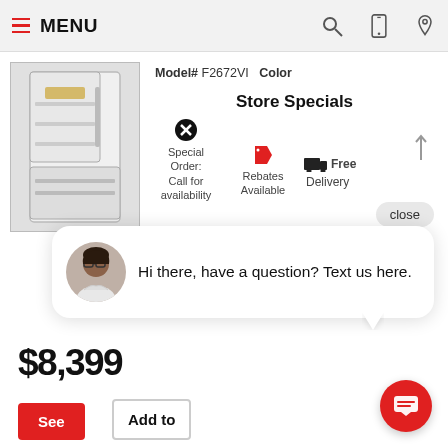MENU
[Figure (photo): Refrigerator product photo showing open door with shelves]
Model# F2672VI  Color
Store Specials
Special Order: Call for availability   Rebates Available   Free Delivery
close
[Figure (photo): Chat widget popup with avatar photo of a woman and text: Hi there, have a question? Text us here.]
Hi there, have a question? Text us here.
$8,399
See
Add to